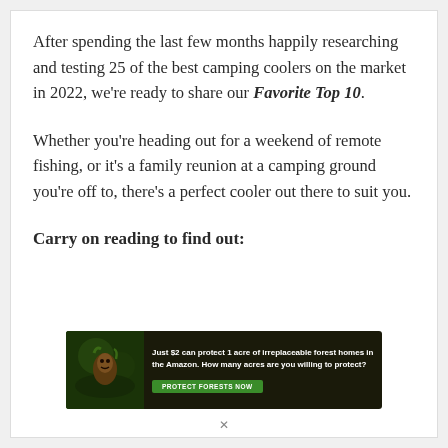After spending the last few months happily researching and testing 25 of the best camping coolers on the market in 2022, we're ready to share our Favorite Top 10.
Whether you're heading out for a weekend of remote fishing, or it's a family reunion at a camping ground you're off to, there's a perfect cooler out there to suit you.
Carry on reading to find out:
[Figure (infographic): Advertisement banner: forest conservation ad with image of animal in forest background. Text: 'Just $2 can protect 1 acre of irreplaceable forest homes in the Amazon. How many acres are you willing to protect?' with a green 'PROTECT FORESTS NOW' button.]